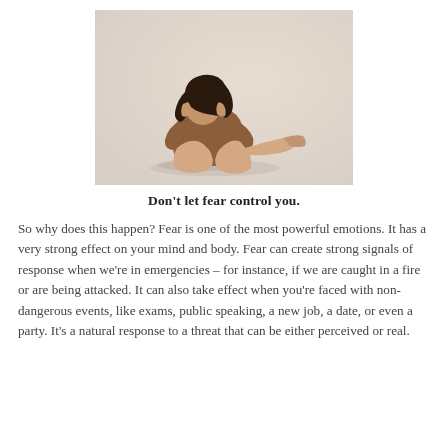[Figure (photo): A person with dark hair sitting on the floor hugging their knees, wearing a brown/rust colored outfit, photographed from the side in a minimalist light-colored room.]
Don't let fear control you.
So why does this happen? Fear is one of the most powerful emotions. It has a very strong effect on your mind and body. Fear can create strong signals of response when we're in emergencies – for instance, if we are caught in a fire or are being attacked. It can also take effect when you're faced with non-dangerous events, like exams, public speaking, a new job, a date, or even a party. It's a natural response to a threat that can be either perceived or real.